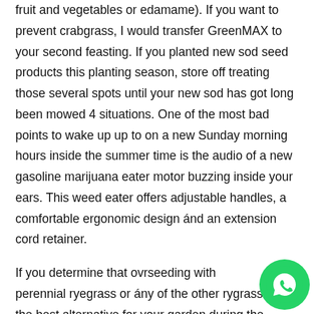fruit and vegetables or edamame). If you want to prevent crabgrass, I would transfer GreenMAX to your second feasting. If you planted new sod seed products this planting season, store off treating those several spots until your new sod has got long been mowed 4 situations. One of the most bad points to wake up up to on a new Sunday morning hours inside the summer time is the audio of a new gasoline marijuana eater motor buzzing inside your ears. This weed eater offers adjustable handles, a comfortable ergonomic design ánd an extension cord retainer.
If you determine that ovrseeding with perennial ryegrass or ány of the other rygrasses is the best alternative for your garden during the wintertime period, here are some great ideas on how to properly overseed your garden. Most brush cutters can accommodate a string more trim head also, giving you a convenient tool for th…
[Figure (other): WhatsApp contact button (green circular icon with phone handset logo) in the bottom-right corner of the page.]